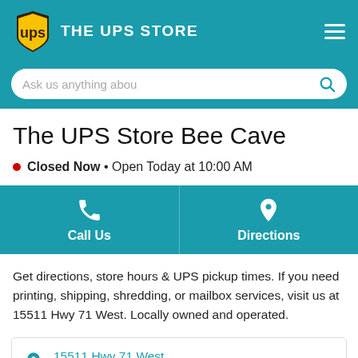THE UPS STORE
Ask us anything abou
The UPS Store Bee Cave
Closed Now • Open Today at 10:00 AM
Call Us
Directions
Get directions, store hours & UPS pickup times. If you need printing, shipping, shredding, or mailbox services, visit us at 15511 Hwy 71 West. Locally owned and operated.
15511 Hwy 71 West
Ste 110
Bee Cave, TX 78738